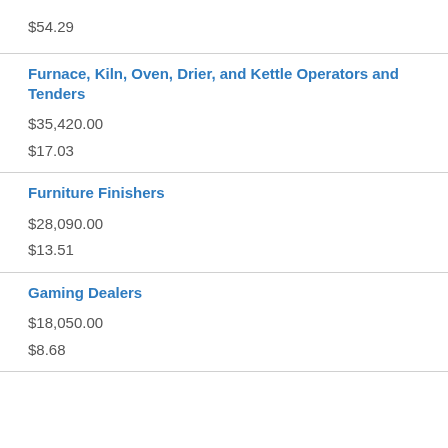$54.29
Furnace, Kiln, Oven, Drier, and Kettle Operators and Tenders
$35,420.00
$17.03
Furniture Finishers
$28,090.00
$13.51
Gaming Dealers
$18,050.00
$8.68